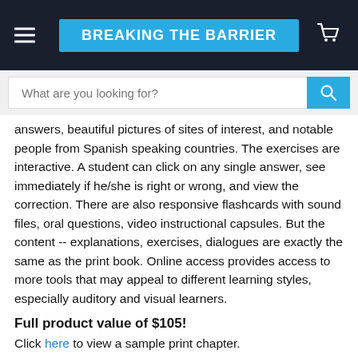BREAKING THE BARRIER
answers, beautiful pictures of sites of interest, and notable people from Spanish speaking countries. The exercises are interactive. A student can click on any single answer, see immediately if he/she is right or wrong, and view the correction. There are also responsive flashcards with sound files, oral questions, video instructional capsules. But the content -- explanations, exercises, dialogues are exactly the same as the print book. Online access provides access to more tools that may appeal to different learning styles, especially auditory and visual learners.
Full product value of $105!
Click here to view a sample print chapter.